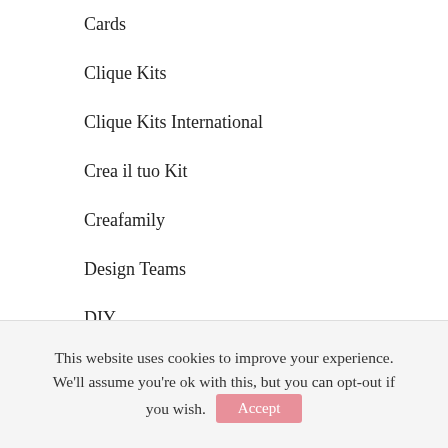Cards
Clique Kits
Clique Kits International
Crea il tuo Kit
Creafamily
Design Teams
DIY
Docrafts
Flavir Design
Gift boxes
Guest Designer
This website uses cookies to improve your experience. We'll assume you're ok with this, but you can opt-out if you wish. Accept